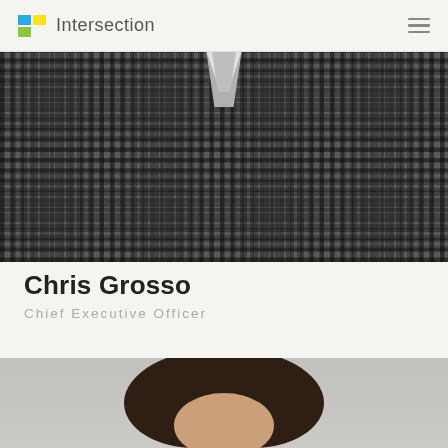Intersection
[Figure (photo): Photo of Chris Grosso wearing a dark checkered shirt, cropped from chest up, against a gray background]
Chris Grosso
Chief Executive Officer
[Figure (photo): Photo of a woman with dark wavy hair, partially visible, against a gray background]